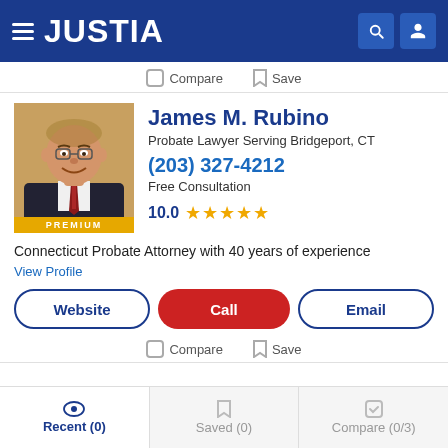JUSTIA
Compare   Save
James M. Rubino
Probate Lawyer Serving Bridgeport, CT
(203) 327-4212
Free Consultation
10.0 ★★★★★
[Figure (photo): Headshot of James M. Rubino, middle-aged man in dark suit and red striped tie, smiling. PREMIUM badge at bottom.]
Connecticut Probate Attorney with 40 years of experience
View Profile
Website   Call   Email
Compare   Save
Recent (0)   Saved (0)   Compare (0/3)